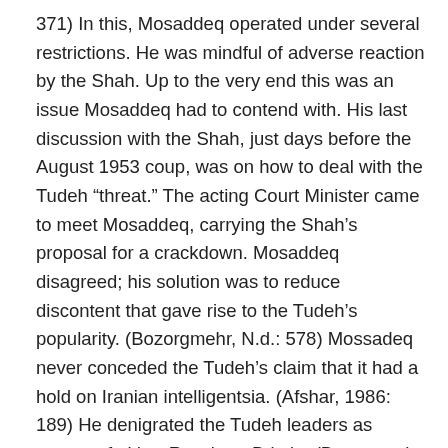371) In this, Mosaddeq operated under several restrictions. He was mindful of adverse reaction by the Shah. Up to the very end this was an issue Mosaddeq had to contend with. His last discussion with the Shah, just days before the August 1953 coup, was on how to deal with the Tudeh “threat.” The acting Court Minister came to meet Mosaddeq, carrying the Shah’s proposal for a crackdown. Mosaddeq disagreed; his solution was to reduce discontent that gave rise to the Tudeh’s popularity. (Bozorgmehr, N.d.: 578) Mossadeq never conceded the Tudeh’s claim that it had a hold on Iranian intelligentsia. (Afshar, 1986: 189) He denigrated the Tudeh leaders as agents of either Russia or Britain. (Bozorgmehr, N.d.: 573) Many Tudeh leaders returned the compliment by attacking Mossadeq’s aristocratic and land owning background and his solicitation of American support. As Mosaddeq saw it